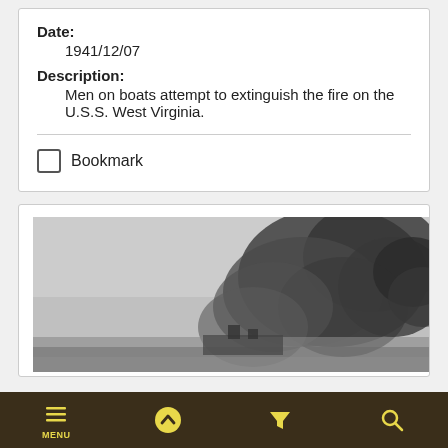Date:
1941/12/07
Description:
Men on boats attempt to extinguish the fire on the U.S.S. West Virginia.
Bookmark
[Figure (photo): Black and white historical photograph showing large dark smoke clouds rising, presumably from the USS West Virginia at Pearl Harbor, December 7, 1941.]
MENU | up arrow | filter | search